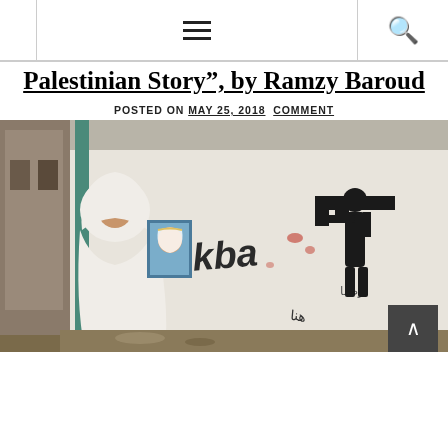Navigation header with hamburger menu and search icon
Palestinian Story", by Ramzy Baroud
POSTED ON MAY 25, 2018  COMMENT
[Figure (photo): A woman in white hijab holding a portrait of Yasser Arafat stands next to a wall with graffiti reading 'Nakba' and a mural of a silhouetted figure holding a large key.]